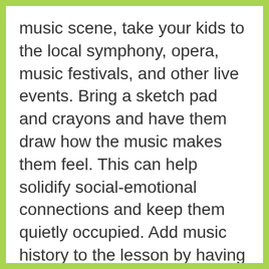music scene, take your kids to the local symphony, opera, music festivals, and other live events. Bring a sketch pad and crayons and have them draw how the music makes them feel. This can help solidify social-emotional connections and keep them quietly occupied. Add music history to the lesson by having older students research the composer and write a report on their life and legacy.
Online Options